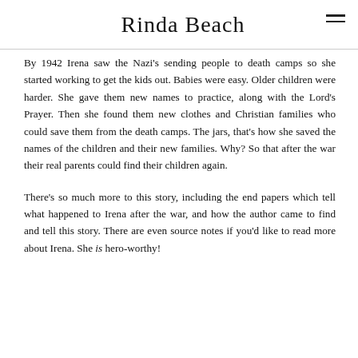Rinda Beach
By 1942 Irena saw the Nazi's sending people to death camps so she started working to get the kids out. Babies were easy. Older children were harder. She gave them new names to practice, along with the Lord's Prayer. Then she found them new clothes and Christian families who could save them from the death camps. The jars, that's how she saved the names of the children and their new families. Why? So that after the war their real parents could find their children again.
There's so much more to this story, including the end papers which tell what happened to Irena after the war, and how the author came to find and tell this story. There are even source notes if you'd like to read more about Irena. She is hero-worthy!